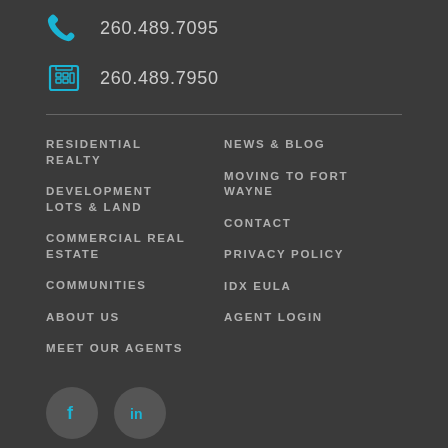260.489.7095
260.489.7950
RESIDENTIAL REALTY
DEVELOPMENT LOTS & LAND
COMMERCIAL REAL ESTATE
COMMUNITIES
ABOUT US
MEET OUR AGENTS
NEWS & BLOG
MOVING TO FORT WAYNE
CONTACT
PRIVACY POLICY
IDX EULA
AGENT LOGIN
[Figure (logo): Facebook social media icon circle button]
[Figure (logo): LinkedIn social media icon circle button]